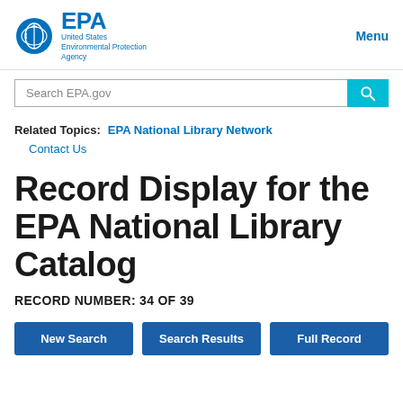EPA United States Environmental Protection Agency | Menu
Search EPA.gov
Related Topics: EPA National Library Network
Contact Us
Record Display for the EPA National Library Catalog
RECORD NUMBER: 34 OF 39
New Search | Search Results | Full Record